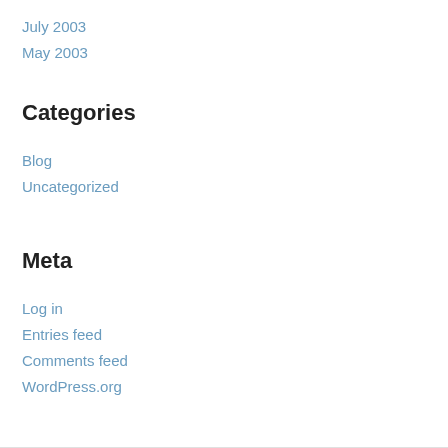July 2003
May 2003
Categories
Blog
Uncategorized
Meta
Log in
Entries feed
Comments feed
WordPress.org